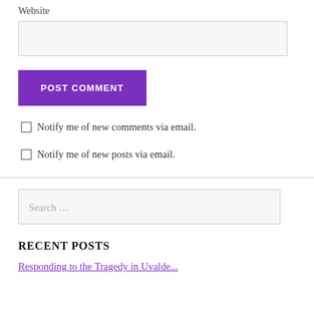Website
[Figure (other): Website input text field (empty, light gray background)]
POST COMMENT
Notify me of new comments via email.
Notify me of new posts via email.
[Figure (other): Search input field with placeholder text 'Search ...']
RECENT POSTS
Responding to the Tragedy in Uvalde...